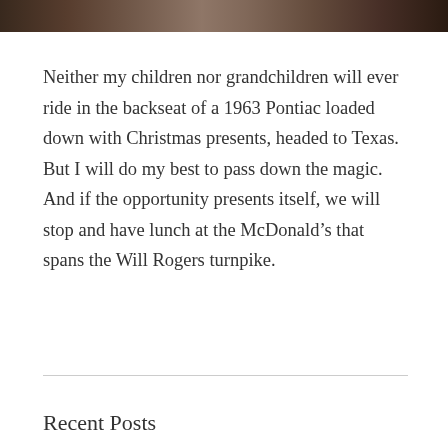[Figure (photo): Sepia-toned photograph strip at top of page showing people, partially cropped]
Neither my children nor grandchildren will ever ride in the backseat of a 1963 Pontiac loaded down with Christmas presents, headed to Texas. But I will do my best to pass down the magic. And if the opportunity presents itself, we will stop and have lunch at the McDonald’s that spans the Will Rogers turnpike.
Recent Posts